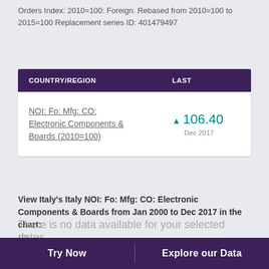Orders Index: 2010=100: Foreign. Rebased from 2010=100 to 2015=100 Replacement series ID: 401479497
| COUNTRY/REGION | LAST |
| --- | --- |
| NOI: Fo: Mfg: CO: Electronic Components & Boards (2010=100) | ▲ 106.40
Dec 2017 |
View Italy's Italy NOI: Fo: Mfg: CO: Electronic Components & Boards from Jan 2000 to Dec 2017 in the chart:
There is no data available for your selected dates.
[Figure (area-chart): Area/line chart showing index values over time with visible peaks at 99.100, 95.700, 98.700, 93.100, and 106.400, y-axis from 95 to 110]
Try Now   Explore our Data